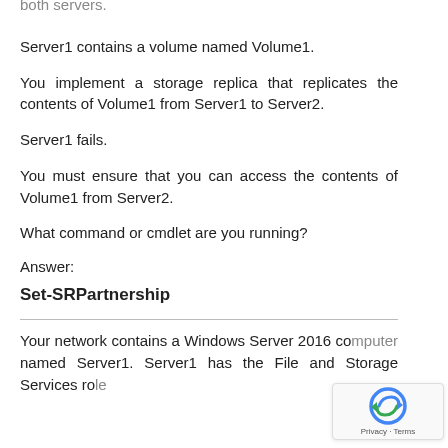The Windows Server 2016 operating system is installed on both servers.
Server1 contains a volume named Volume1.
You implement a storage replica that replicates the contents of Volume1 from Server1 to Server2.
Server1 fails.
You must ensure that you can access the contents of Volume1 from Server2.
What command or cmdlet are you running?
Answer:
Set-SRPartnership
Your network contains a Windows Server 2016 computer named Server1. Server1 has the File and Storage Services role